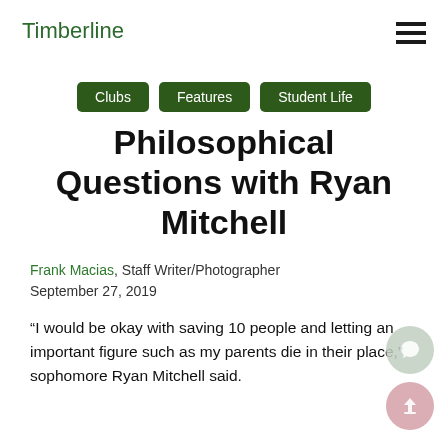Timberline
Clubs  Features  Student Life
Philosophical Questions with Ryan Mitchell
Frank Macias, Staff Writer/Photographer
September 27, 2019
“I would be okay with saving 10 people and letting an important figure such as my parents die in their place,” sophomore Ryan Mitchell said.